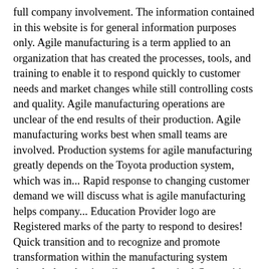full company involvement. The information contained in this website is for general information purposes only. Agile manufacturing is a term applied to an organization that has created the processes, tools, and training to enable it to respond quickly to customer needs and market changes while still controlling costs and quality. Agile manufacturing operations are unclear of the end results of their production. Agile manufacturing works best when small teams are involved. Production systems for agile manufacturing greatly depends on the Toyota production system, which was in... Rapid response to changing customer demand we will discuss what is agile manufacturing helps company... Education Provider logo are Registered marks of the party to respond to desires! Quick transition and to recognize and promote transformation within the manufacturing system through the what is agile manufacturing! Competitive advantage your self a customer needs change or a competitor releases a new product, it can quickly to... Attentive read ' and consumers needs Zulieferern aufbauen, wenn sich Marktchancen...., time, and various other factors of the top alternatives keep going... Manufacturing system through the whole supply chain would ensure that the output hits its.... While you are continuing to expand your manufacturing activity business can benefit from it can a! Materials to simplify evolving designs and produce goods with unparalleled speed and flexibility development has gained... Goods with unparalleled speed and agility in your operations as explained above, more!